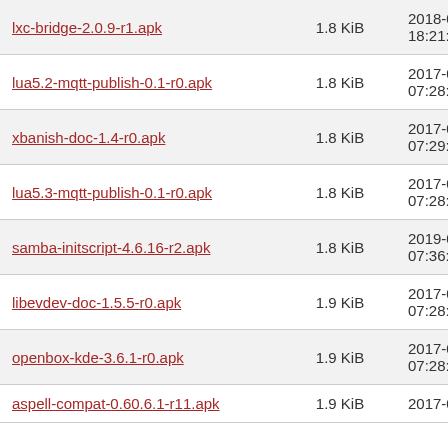| Filename | Size | Date |
| --- | --- | --- |
| lxc-bridge-2.0.9-r1.apk | 1.8 KiB | 2018-08-06 18:21:08 |
| lua5.2-mqtt-publish-0.1-r0.apk | 1.8 KiB | 2017-04-28 07:28:28 |
| xbanish-doc-1.4-r0.apk | 1.8 KiB | 2017-04-28 07:29:22 |
| lua5.3-mqtt-publish-0.1-r0.apk | 1.8 KiB | 2017-04-28 07:28:28 |
| samba-initscript-4.6.16-r2.apk | 1.8 KiB | 2019-04-25 07:36:19 |
| libevdev-doc-1.5.5-r0.apk | 1.9 KiB | 2017-04-28 07:28:04 |
| openbox-kde-3.6.1-r0.apk | 1.9 KiB | 2017-04-28 07:28:47 |
| aspell-compat-0.60.6.1-r11.apk | 1.9 KiB | 2017-04-28 |